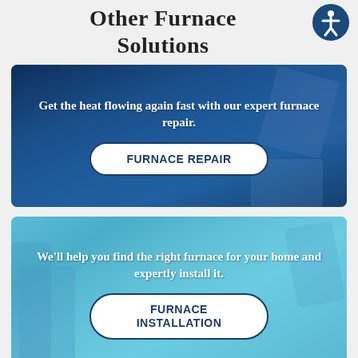Other Furnace Solutions
[Figure (illustration): Accessibility icon — person in circle, dark blue border]
[Figure (infographic): Dark blue banner card with background image of furnace/HVAC equipment. Text: 'Get the heat flowing again fast with our expert furnace repair.' Button: 'FURNACE REPAIR']
[Figure (infographic): Light blue banner card with background image of technicians working. Text: 'We'll help you find the right furnace for your home and expertly install it.' Button: 'FURNACE INSTALLATION']